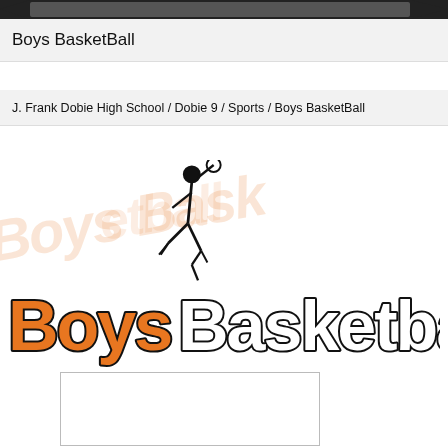Boys BasketBall
J. Frank Dobie High School / Dobie 9 / Sports / Boys BasketBall
[Figure (logo): Boys Basketball logo with a basketball player dunking silhouette and large orange and white text reading 'Boys Basketball' with watermark behind]
[Figure (other): Empty white box/frame at bottom of page]